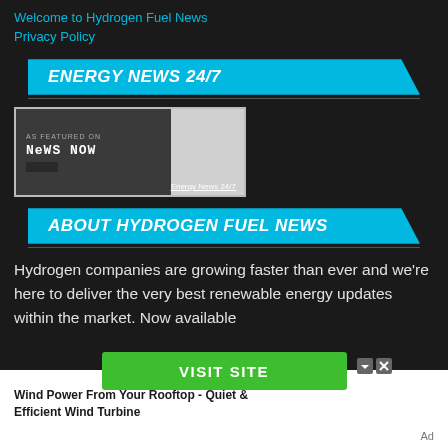Welcome to Hydrogen Fuel News
Privacy Policy
ENERGY NEWS 24/7
[Figure (screenshot): News Now badge: 'AS FEATURED ON News NOW' with caption 'Energy News 24/7']
ABOUT HYDROGEN FUEL NEWS
Hydrogen companies are growing faster than ever and we're here to deliver the very best renewable energy updates within the market. Now available
[Figure (infographic): Green 'VISIT SITE' button advertisement with close icons]
Wind Power From Your Rooftop - Quiet & Efficient Wind Turbine
Ad